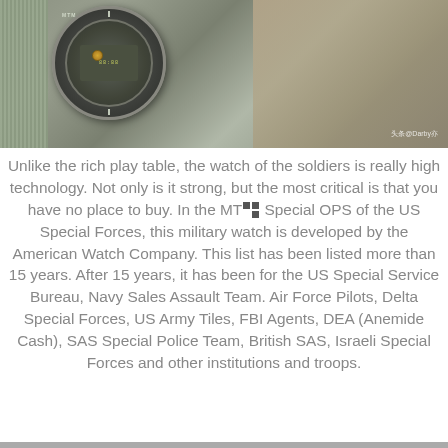[Figure (photo): Close-up photo of a military tactical watch with olive/grey woven band on textured surface. Watermark text '头条@Darby亦' in bottom right corner.]
Unlike the rich play table, the watch of the soldiers is really high technology. Not only is it strong, but the most critical is that you have no place to buy. In the MTM Special OPS of the US Special Forces, this military watch is developed by the American Watch Company. This list has been listed more than 15 years. After 15 years, it has been for the US Special Service Bureau, Navy Sales Assault Team. Air Force Pilots, Delta Special Forces, US Army Tiles, FBI Agents, DEA (Anemide Cash), SAS Special Police Team, British SAS, Israeli Special Forces and other institutions and troops.